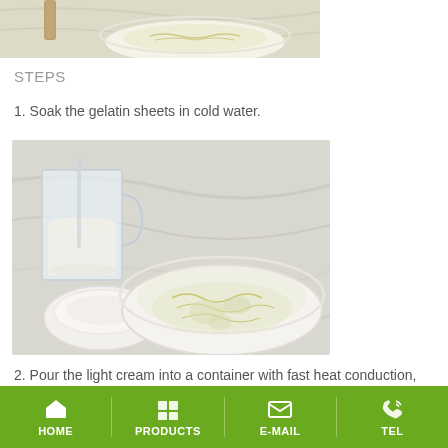[Figure (photo): Top portion of a photo showing a white bowl with gelatin sheets soaking in water, with a wooden brush handle visible, on a marble surface]
STEPS
1. Soak the gelatin sheets in cold water.
[Figure (photo): Photo showing ingredients for a recipe: a glass measuring cup with milk, a white bowl with gelatin sheets soaking in water, and a small white dish with sugar or powder, on a marble surface]
2. Pour the light cream into a container with fast heat conduction,
HOME   PRODUCTS   E-MAIL   TEL